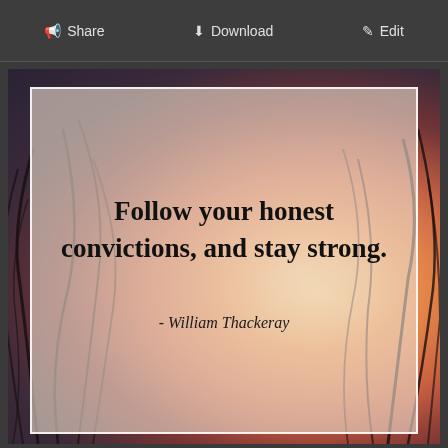Share   Download   Edit
[Figure (illustration): A quote card with a sunset background showing silhouetted grass/reeds against warm orange and purple sky with a glowing sun. A semi-transparent light beige overlay card contains the quote text.]
Follow your honest convictions, and stay strong.
- William Thackeray